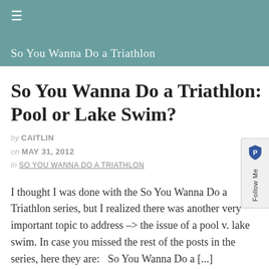So You Wanna Do a Triathlon
So You Wanna Do a Triathlon: Pool or Lake Swim?
by CAITLIN
on MAY 31, 2012
in SO YOU WANNA DO A TRIATHLON
I thought I was done with the So You Wanna Do a Triathlon series, but I realized there was another very important topic to address –> the issue of a pool v. lake swim. In case you missed the rest of the posts in the series, here they are:   So You Wanna Do a [...]